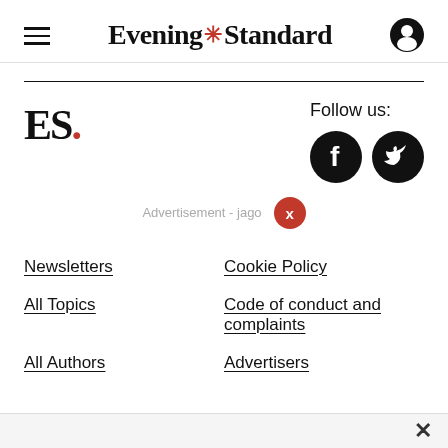Evening Standard
[Figure (logo): ES. logo in bold black serif font with red dot]
Follow us:
[Figure (logo): Facebook and Twitter social media icons (dark circles with white F and bird)]
Advertisement - jago X
Newsletters
Cookie Policy
All Topics
Code of conduct and complaints
All Authors
Advertisers